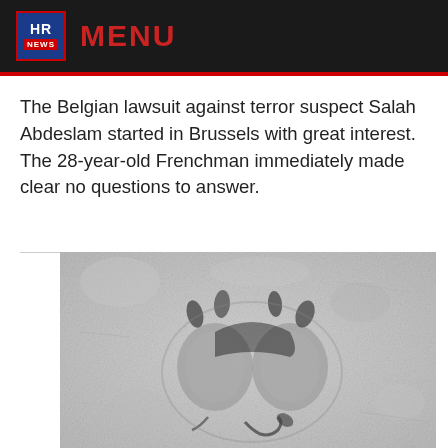HR NEWS  MENU
The Belgian lawsuit against terror suspect Salah Abdeslam started in Brussels with great interest. The 28-year-old Frenchman immediately made clear no questions to answer.
[Figure (photo): Close-up grayscale photo of an animal paw print in concrete or sandy surface, showing two main pad impressions and claw marks]